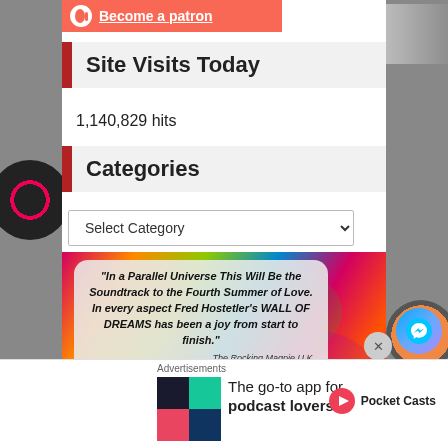[Figure (other): Patreon button: red background, Patreon logo icon, 'Become a patron' link text]
Site Visits Today
1,140,829 hits
Categories
Select Category
[Figure (illustration): Colorful psychedelic background banner with two quote boxes: Main quote: '"In a Parallel Universe This Will Be the Soundtrack to the Fourth Summer of Love. In every aspect Fred Hostetler's WALL OF DREAMS has been a joy from start to finish." The Rocking Magpie U.K.' Secondary quote: '"Wall of Dreams Ep is a cohesive thematic work which harkens back to progressive rock days"']
Advertisements
[Figure (infographic): Pocket Casts app advertisement: colorful quad-logo, text 'The go-to app for podcast lovers.' with Pocket Casts branding]